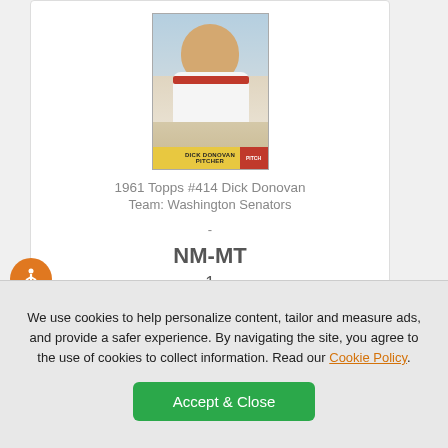[Figure (photo): 1961 Topps baseball card image of Dick Donovan, showing a player portrait with yellow name bar at the bottom]
1961 Topps #414 Dick Donovan
Team: Washington Senators
-
NM-MT
1
$10.00
ADD TO CART
We use cookies to help personalize content, tailor and measure ads, and provide a safer experience. By navigating the site, you agree to the use of cookies to collect information. Read our Cookie Policy.
Accept & Close